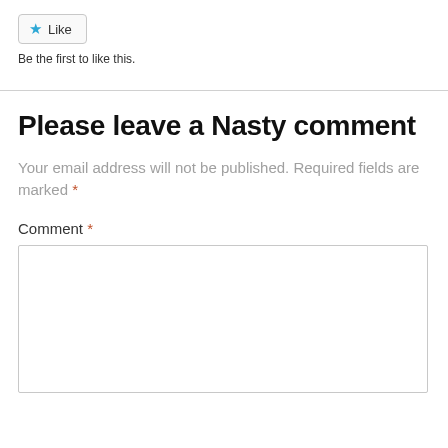[Figure (other): Like button with star icon and text 'Like']
Be the first to like this.
Please leave a Nasty comment
Your email address will not be published. Required fields are marked *
Comment *
[Figure (other): Empty comment text area input box]